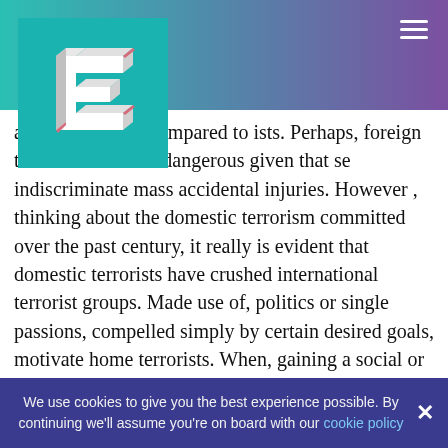[Figure (logo): 3D letter E logo in white on teal/cyan background square]
ally not diabolic compared to ists. Perhaps, foreign terrorist ven more dangerous given that se indiscriminate mass accidental injuries. However , thinking about the domestic terrorism committed over the past century, it really is evident that domestic terrorists have crushed international terrorist groups. Made use of, politics or single passions, compelled simply by certain desired goals, motivate home terrorists. When, gaining a social or political aim is a basic motivator pertaining to terrorism, terrorists, driven simply by religion, would be the most expected ones. This kind of members nearly exclusively rationalize their actions, for instance
We use cookies to give you the best experience possible. By continuing we'll assume you're on board with our cookie policy